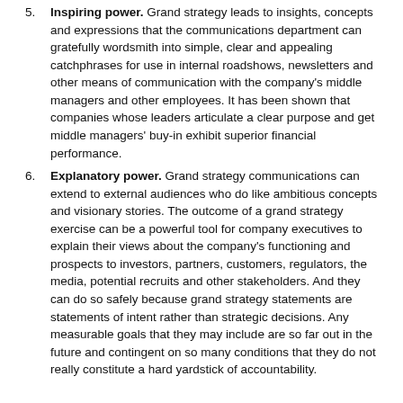5. Inspiring power. Grand strategy leads to insights, concepts and expressions that the communications department can gratefully wordsmith into simple, clear and appealing catchphrases for use in internal roadshows, newsletters and other means of communication with the company's middle managers and other employees. It has been shown that companies whose leaders articulate a clear purpose and get middle managers' buy-in exhibit superior financial performance.
6. Explanatory power. Grand strategy communications can extend to external audiences who do like ambitious concepts and visionary stories. The outcome of a grand strategy exercise can be a powerful tool for company executives to explain their views about the company's functioning and prospects to investors, partners, customers, regulators, the media, potential recruits and other stakeholders. And they can do so safely because grand strategy statements are statements of intent rather than strategic decisions. Any measurable goals that they may include are so far out in the future and contingent on so many conditions that they do not really constitute a hard yardstick of accountability.